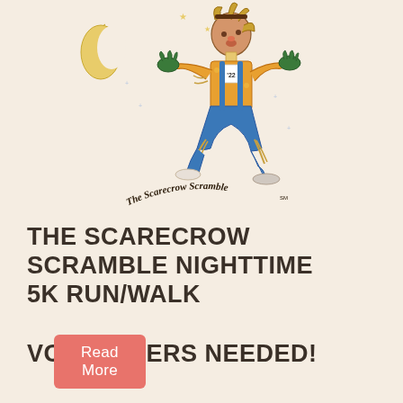[Figure (illustration): Cartoon scarecrow running at night with a crescent moon and stars, wearing overalls and a race bib labeled '22', with text arched below reading 'The Scarecrow Scramble SM']
THE SCARECROW SCRAMBLE NIGHTTIME 5K RUN/WALK
VOLUNTEERS NEEDED!
Read More